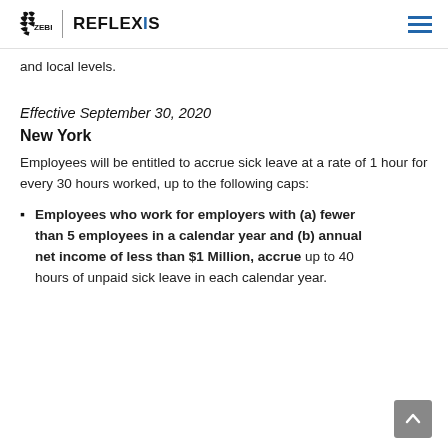Zebra Reflexis
and local levels.
Effective September 30, 2020
New York
Employees will be entitled to accrue sick leave at a rate of 1 hour for every 30 hours worked, up to the following caps:
Employees who work for employers with (a) fewer than 5 employees in a calendar year and (b) annual net income of less than $1 Million, accrue up to 40 hours of unpaid sick leave in each calendar year.